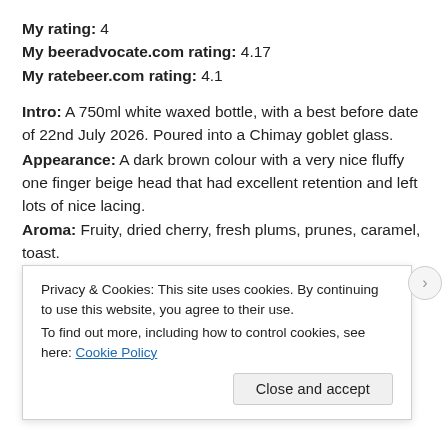My rating: 4
My beeradvocate.com rating: 4.17
My ratebeer.com rating: 4.1
Intro: A 750ml white waxed bottle, with a best before date of 22nd July 2026. Poured into a Chimay goblet glass.
Appearance: A dark brown colour with a very nice fluffy one finger beige head that had excellent retention and left lots of nice lacing.
Aroma: Fruity, dried cherry, fresh plums, prunes, caramel, toast.
Taste: Roasted malts, toast, cacao, sweet notes, dried cherries, dates, prunes, raisins, caramel, and a touch boozy
Privacy & Cookies: This site uses cookies. By continuing to use this website, you agree to their use. To find out more, including how to control cookies, see here: Cookie Policy
Close and accept